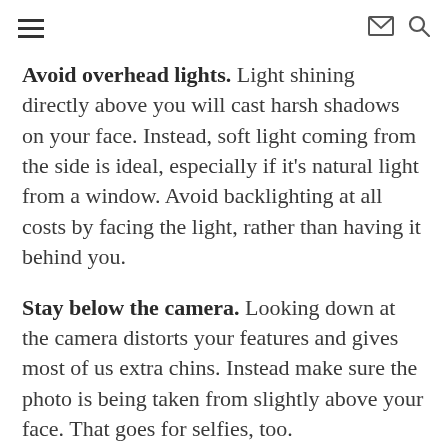≡  ✉ 🔍
Avoid overhead lights. Light shining directly above you will cast harsh shadows on your face. Instead, soft light coming from the side is ideal, especially if it's natural light from a window. Avoid backlighting at all costs by facing the light, rather than having it behind you.
Stay below the camera. Looking down at the camera distorts your features and gives most of us extra chins. Instead make sure the photo is being taken from slightly above your face. That goes for selfies, too.